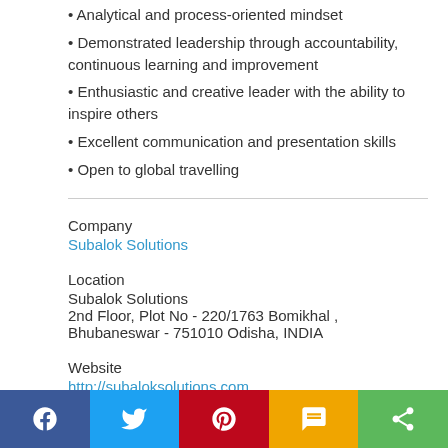• Analytical and process-oriented mindset
• Demonstrated leadership through accountability, continuous learning and improvement
• Enthusiastic and creative leader with the ability to inspire others
• Excellent communication and presentation skills
• Open to global travelling
Company
Subalok Solutions
Location
Subalok Solutions
2nd Floor, Plot No - 220/1763 Bomikhal ,
Bhubaneswar - 751010 Odisha, INDIA
Website
http://subaloksolutions.com